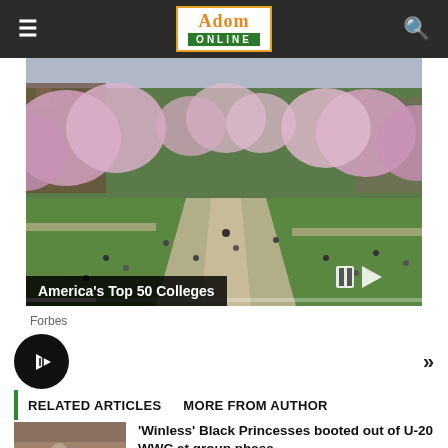Adom Online
[Figure (photo): Outdoor university campus scene with cherry blossom trees in full bloom, green lawn, and students walking on paths. Video player overlay with pause and next controls. Caption: America's Top 50 Colleges]
America's Top 50 Colleges
Forbes
[Figure (other): Audio play button (black circle with play icon) and chevron double-right arrow]
RELATED ARTICLES    MORE FROM AUTHOR
'Winless' Black Princesses booted out of U-20 WWC at group phase